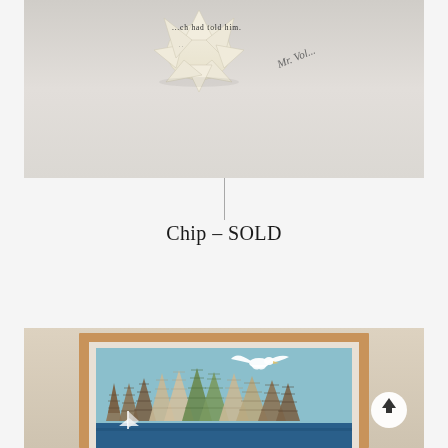[Figure (photo): Close-up photograph of a paper craft artwork made from folded book pages arranged in a sun/star shape, mounted on a light gray wall. Text from the book pages is visible reading '...ch had told him.' and cursive text 'Mr. Vol...' is written on the wall nearby.]
Chip – SOLD
[Figure (photo): Photograph of a framed paper craft artwork showing a nature scene with stylized trees made from chevron/zigzag patterned paper in earth tones, a white seagull in flight, against a light blue background, with a dark blue water strip at the bottom. The frame is light wood/natural colored. A scroll-to-top arrow button is visible in the lower right corner.]